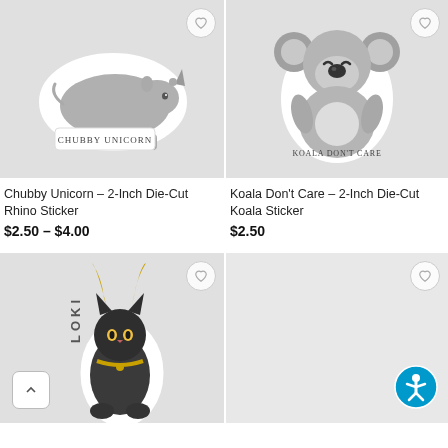[Figure (photo): Chubby Unicorn die-cut rhino sticker on gray background]
[Figure (photo): Koala Don't Care die-cut koala sticker on gray background]
Chubby Unicorn – 2-Inch Die-Cut Rhino Sticker
$2.50 – $4.00
Koala Don't Care – 2-Inch Die-Cut Koala Sticker
$2.50
[Figure (photo): Loki cat sticker partially visible on gray background]
[Figure (illustration): Empty product cell with accessibility icon and heart button]